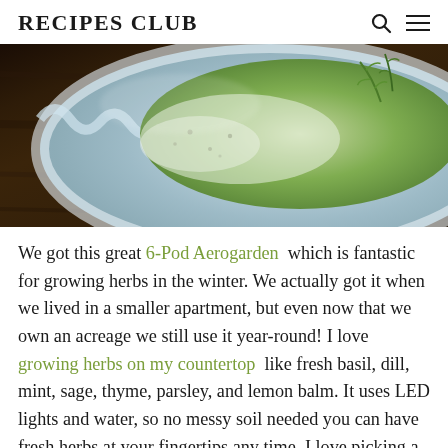RECIPES CLUB
[Figure (photo): Close-up photo of a white ceramic dish containing a green herb dish with white granules (possibly salt or rice) and fresh dill sprigs, on a dark wooden surface.]
We got this great 6-Pod Aerogarden  which is fantastic for growing herbs in the winter. We actually got it when we lived in a smaller apartment, but even now that we own an acreage we still use it year-round! I love  growing herbs on my countertop  like fresh basil, dill, mint, sage, thyme, parsley, and lemon balm. It uses LED lights and water, so no messy soil needed you can have fresh herbs at your fingertips any time. I love picking a few springs of parsley to chop on pastas, adding basil leaves to soups, and tossing some dill in with my pasta salads. This Aerogarden  is a great